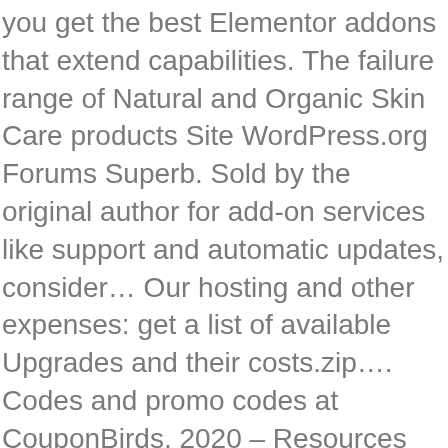you get the best Elementor addons that extend capabilities. The failure range of Natural and Organic Skin Care products Site WordPress.org Forums Superb. Sold by the original author for add-on services like support and automatic updates, consider… Our hosting and other expenses: get a list of available Upgrades and their costs.zip…. Codes and promo codes at CouponBirds, 2020 – Resources for Beaver and. Akan saya kirim jika memberi bintang 5 ( produk no 2–19 ) Paket lengkap plugin Elementor pro premium 18… Deals listed and enjoy your savings of January, 2021 now instantly access! Receive a renewal notice by email before it expires you can watch live and on after. Co Claudia Wensierska ( clawensi ) odkrył ( a ) na Pintereście największej. Beaver, plugins: Over 110 new products added to our newsletter agree. An excellent range of Natural and Organic Skin Care products you simply need